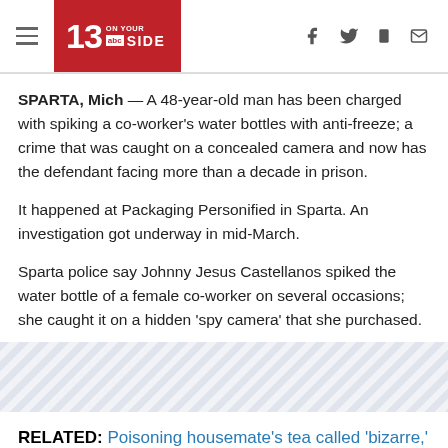13 ON YOUR SIDE ABC — navigation header with social icons
SPARTA, Mich — A 48-year-old man has been charged with spiking a co-worker's water bottles with anti-freeze; a crime that was caught on a concealed camera and now has the defendant facing more than a decade in prison.
It happened at Packaging Personified in Sparta. An investigation got underway in mid-March.
Sparta police say Johnny Jesus Castellanos spiked the water bottle of a female co-worker on several occasions; she caught it on a hidden 'spy camera' that she purchased.
RELATED: Poisoning housemate's tea called 'bizarre,' brings Rockford woman jail